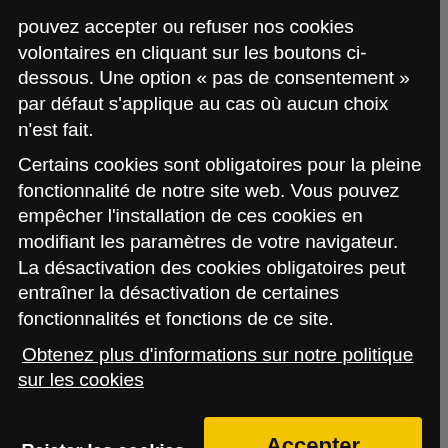pouvez accepter ou refuser nos cookies volontaires en cliquant sur les boutons ci-dessous. Une option « pas de consentement » par défaut s'applique au cas où aucun choix n'est fait.
Certains cookies sont obligatoires pour la pleine fonctionnalité de notre site web. Vous pouvez empêcher l'installation de ces cookies en modifiant les paramètres de votre navigateur. La désactivation des cookies obligatoires peut entraîner la désactivation de certaines fonctionnalités et fonctions de ce site.
Obtenez plus d'informations sur notre politique sur les cookies
Rejeter les cookies volontaires
Accepter
Revolut, AstroPay, M-PESA Kenya (Safaricom), M-PESA